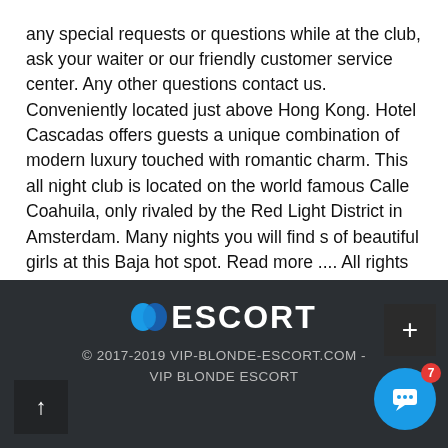any special requests or questions while at the club, ask your waiter or our friendly customer service center. Any other questions contact us. Conveniently located just above Hong Kong. Hotel Cascadas offers guests a unique combination of modern luxury touched with romantic charm. This all night club is located on the world famous Calle Coahuila, only rivaled by the Red Light District in Amsterdam. Many nights you will find s of beautiful girls at this Baja hot spot. Read more .... All rights reserved. Sign in or Register. Toggle navigation. Hotel Cascadas Conveniently located just above Hong Kong. See the HK Stripper Gallery. Request a Reservation. About Hong Kong. Contact Us. Event Newsletter.
ESCORT © 2017-2019 VIP-BLONDE-ESCORT.COM - VIP BLONDE ESCORT